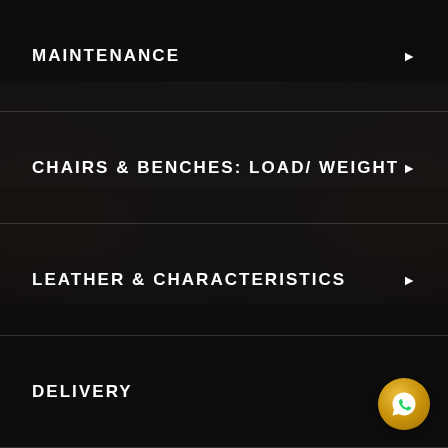MAINTENANCE
CHAIRS & BENCHES: LOAD/ WEIGHT
LEATHER & CHARACTERISTICS
DELIVERY